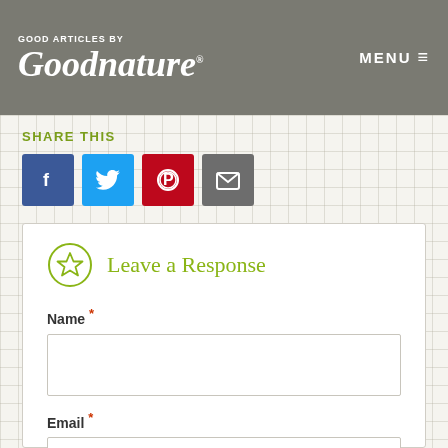Good Articles by Goodnature
SHARE THIS
[Figure (infographic): Social share buttons: Facebook (blue), Twitter (light blue), Pinterest (red/dark red), Email (gray)]
Leave a Response
Name *
Email *